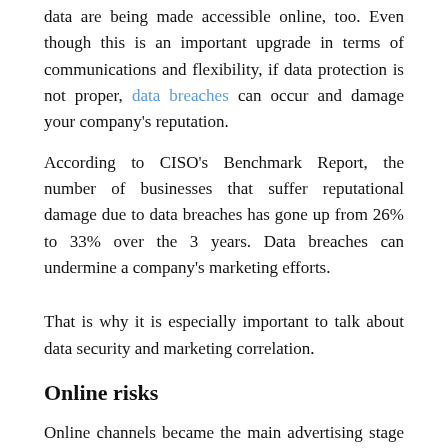data are being made accessible online, too. Even though this is an important upgrade in terms of communications and flexibility, if data protection is not proper, data breaches can occur and damage your company's reputation.
According to CISO's Benchmark Report, the number of businesses that suffer reputational damage due to data breaches has gone up from 26% to 33% over the 3 years. Data breaches can undermine a company's marketing efforts.
That is why it is especially important to talk about data security and marketing correlation.
Online risks
Online channels became the main advertising stage for companies. Every online interaction with customer collects their data to use for further marketing and remarketing purposes. This mechanism is built on trust – customers are ready to share their data with the brands they trust to get a personalized experience. The brand is processing and storing classified information of their customers and